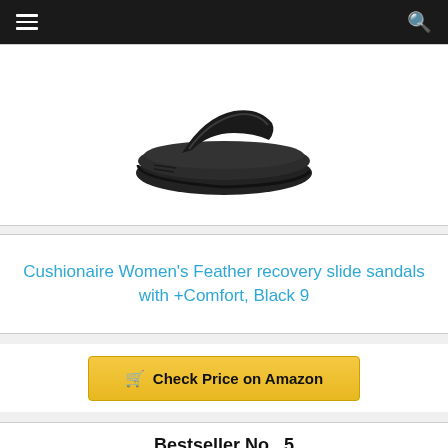Navigation bar with menu and search icons
[Figure (photo): Cushionaire Women's Feather recovery slide sandal in black, shown at an angle on white background]
Cushionaire Women's Feather recovery slide sandals with +Comfort, Black 9
Check Price on Amazon
Bestseller No. 5
[Figure (photo): Bottom portion of another slide sandal product, shown partially at bottom of page]